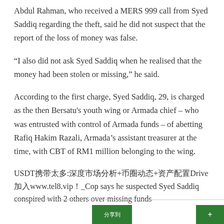Abdul Rahman, who received a MERS 999 call from Syed Saddiq regarding the theft, said he did not suspect that the report of the loss of money was false.
“I also did not ask Syed Saddiq when he realised that the money had been stolen or missing,” he said.
According to the first charge, Syed Saddiq, 29, is charged as the then Bersatu's youth wing or Armada chief – who was entrusted with control of Armada funds – of abetting Rafiq Hakim Razali, Armada’s assistant treasurer at the time, with CBT of RM1 million belonging to the wing.
USDT携带太多:深度市场分析+币圈动态+资产配置Drive加入www.tel8.vip！_Cop says he suspected Syed Saddiq conspired with 2 others over missing funds